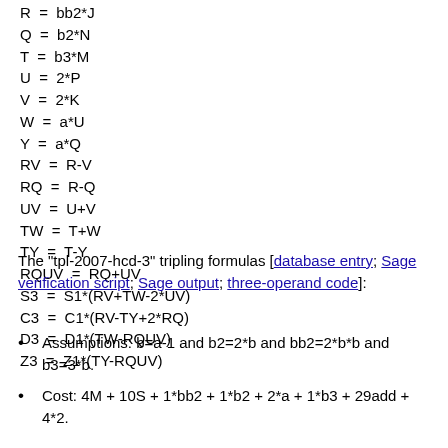The "tpl-2007-hcd-3" tripling formulas [database entry; Sage verification script; Sage output; three-operand code]:
Assumptions: b=a-1 and b2=2*b and bb2=2*b*b and b3=3*b.
Cost: 4M + 10S + 1*bb2 + 1*b2 + 2*a + 1*b3 + 29add + 4*2.